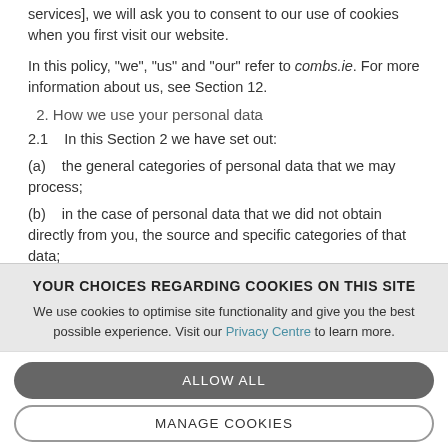services], we will ask you to consent to our use of cookies when you first visit our website.
In this policy, "we", "us" and "our" refer to combs.ie. For more information about us, see Section 12.
2. How we use your personal data
2.1    In this Section 2 we have set out:
(a)    the general categories of personal data that we may process;
(b)    in the case of personal data that we did not obtain directly from you, the source and specific categories of that data;
YOUR CHOICES REGARDING COOKIES ON THIS SITE
We use cookies to optimise site functionality and give you the best possible experience. Visit our Privacy Centre to learn more.
ALLOW ALL
MANAGE COOKIES